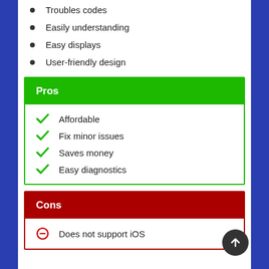Troubles codes
Easily understanding
Easy displays
User-friendly design
Pros
Affordable
Fix minor issues
Saves money
Easy diagnostics
Cons
Does not support iOS